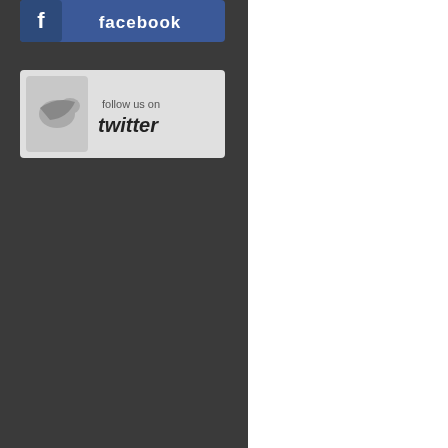[Figure (screenshot): Facebook 'follow us' button with blue background and white Facebook logo and text]
[Figure (screenshot): Twitter 'follow us on twitter' button with light grey background, twitter bird icon, and text]
Cebu's largest, most popular cultu... attraction.
Previously a part of the Archdiocese... Manila archdiocese. It has several... Sto. Rosario Parish Church, San J... Catholic churches. Most of the pop... possible exception of Mindanao) th... the islands of Mindanao.
Other religious minorities include I... Missionaries Association, Church o...
[Figure (photo): Photograph of colorful festival dancers in traditional costumes, with a Live Support offline banner overlay at the bottom]
Cebu's economy is a hodgepodge... making industry. Cebu has been h...